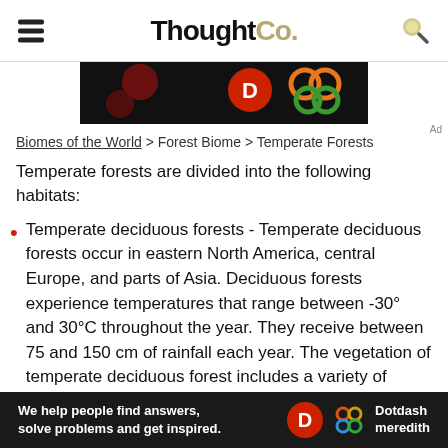ThoughtCo.
[Figure (screenshot): Partial image strip with dark background showing colorful circular graphic elements (Olympic-style rings in orange, green, red)]
Biomes of the World > Forest Biome > Temperate Forests
Temperate forests are divided into the following habitats:
Temperate deciduous forests - Temperate deciduous forests occur in eastern North America, central Europe, and parts of Asia. Deciduous forests experience temperatures that range between -30° and 30°C throughout the year. They receive between 75 and 150 cm of rainfall each year. The vegetation of temperate deciduous forest includes a variety of
[Figure (logo): Dotdash Meredith advertisement banner at bottom of page with text 'We help people find answers, solve problems and get inspired.' and Dotdash Meredith logo]